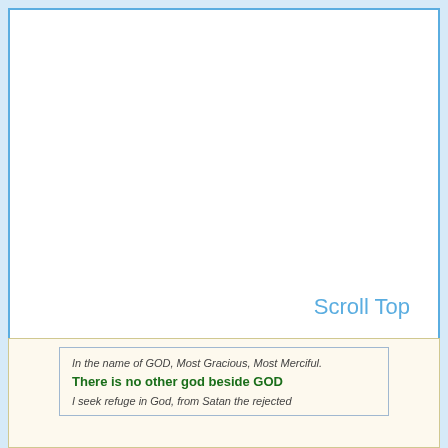Scroll Top
In the name of GOD, Most Gracious, Most Merciful.
There is no other god beside GOD
I seek refuge in God, from Satan the rejected